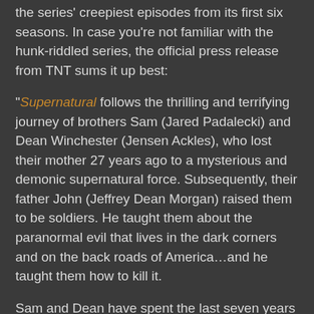the series' creepiest episodes from its first six seasons. In case you're not familiar with the hunk-riddled series, the official press release from TNT sums it up best:
"Supernatural follows the thrilling and terrifying journey of brothers Sam (Jared Padalecki) and Dean Winchester (Jensen Ackles), who lost their mother 27 years ago to a mysterious and demonic supernatural force. Subsequently, their father John (Jeffrey Dean Morgan) raised them to be soldiers. He taught them about the paranormal evil that lives in the dark corners and on the back roads of America…and he taught them how to kill it.
Sam and Dean have spent the last seven years battling the things that go bump in the night. Over the years, with the help of fallen angel Castiel (Misha Collins) and the King of Hell, Crowley (Mark A. Sheppard), the Winchesters have straddled the line between good and evil."
The marathon starts with the episode "Death Takes a Holiday" from season four and ending at 11 a.m. the next day with "Sex and Violence," also from season four. Other